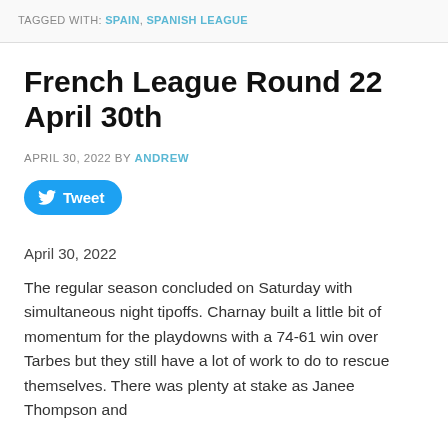TAGGED WITH: SPAIN, SPANISH LEAGUE
French League Round 22 April 30th
APRIL 30, 2022 BY ANDREW
[Figure (other): Tweet button with Twitter bird logo]
April 30, 2022
The regular season concluded on Saturday with simultaneous night tipoffs.  Charnay built a little bit of momentum for the playdowns with a 74-61 win over Tarbes but they still have a lot of work to do to rescue themselves.  There was plenty at stake as Janee Thompson and